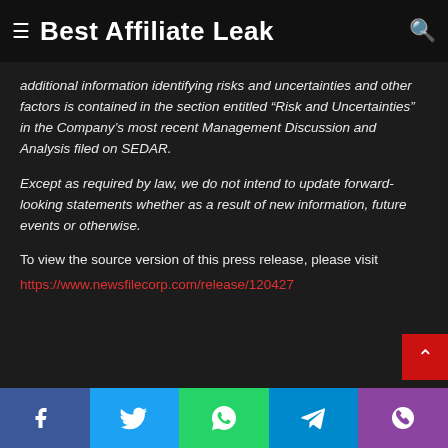Best Affiliate Leak
additional information identifying risks and uncertainties and other factors is contained in the section entitled “Risk and Uncertainties” in the Company’s most recent Management Discussion and Analysis filed on SEDAR.
Except as required by law, we do not intend to update forward-looking statements whether as a result of new information, future events or otherwise.
To view the source version of this press release, please visit https://www.newsfilecorp.com/release/120427